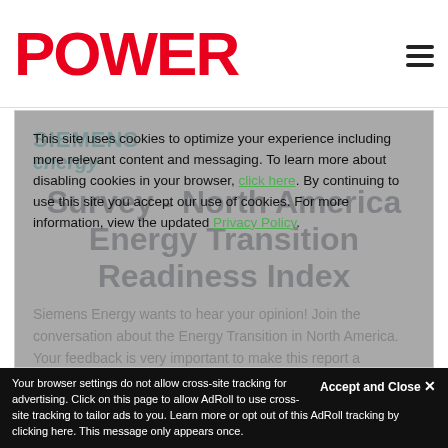POWER
[Figure (logo): POWER magazine logo in red, bold uppercase letters]
Survey - North America Energy Transition Readiness Index
[Figure (logo): Siemens Energy logo in teal/green]
Siemens Energy wants to hear your opinion! Join the conversation about the Energy Transition in North America. Your feedback is very important to make this report a success.
This site uses cookies to optimize your experience including more relevant content and messaging. To learn more about disabling cookies in your browser, click here. By continuing to use this site you accept our use of cookies. For more information, view the updated Privacy Policy.
Your browser settings do not allow cross-site tracking for advertising. Click on this page to allow AdRoll to use cross-site tracking to tailor ads to you. Learn more or opt out of this AdRoll tracking by clicking here. This message only appears once.